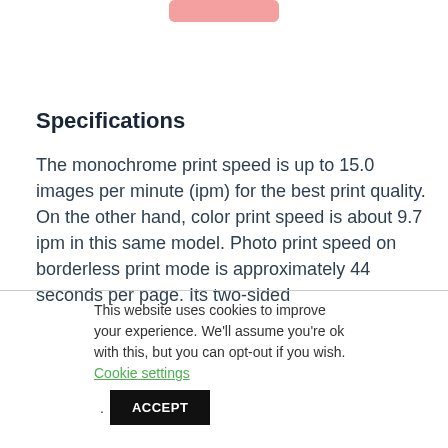[Figure (other): Pink rounded button at top of page]
Specifications
The monochrome print speed is up to 15.0 images per minute (ipm) for the best print quality. On the other hand, color print speed is about 9.7 ipm in this same model. Photo print speed on borderless print mode is approximately 44 seconds per page. Its two-sided
This website uses cookies to improve your experience. We'll assume you're ok with this, but you can opt-out if you wish. Cookie settings . ACCEPT